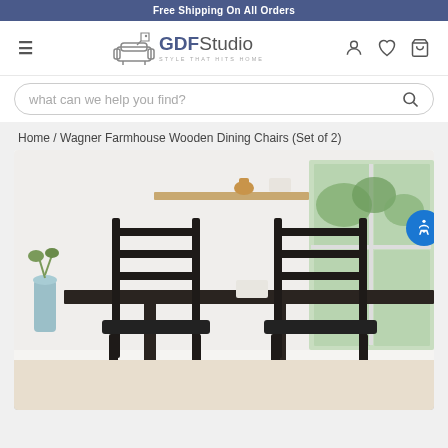Free Shipping On All Orders
[Figure (logo): GDF Studio logo with sofa icon and tagline 'STYLE THAT HITS HOME']
what can we help you find?
Home / Wagner Farmhouse Wooden Dining Chairs (Set of 2)
[Figure (photo): Two black wooden ladder-back dining chairs at a dark wooden table against a white wall with floating shelf. Room has a window with trees visible, a light blue vase with greenery, and a blue patterned rug.]